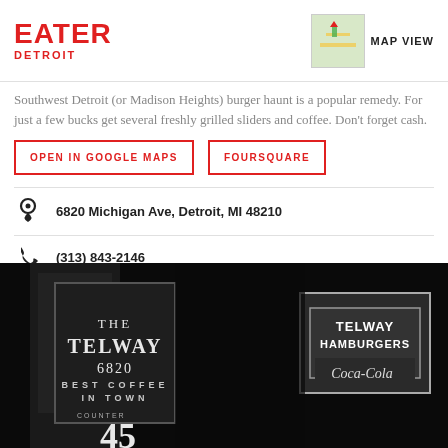EATER DETROIT
Southwest Detroit (or Madison Heights) burger haunt is a popular remedy. For just a few bucks get several freshly grilled sliders and coffee. Don't forget cash.
OPEN IN GOOGLE MAPS | FOURSQUARE
6820 Michigan Ave, Detroit, MI 48210
(313) 843-2146
[Figure (photo): Black and white photo of The Telway restaurant sign at night, showing '6820 Best Coffee In Town Counter 45' and a Telway Hamburgers sign with Coca-Cola logo]